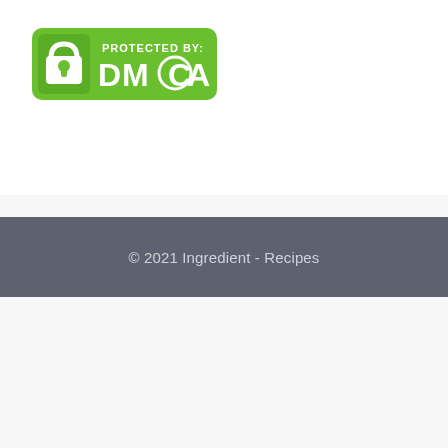[Figure (logo): DMCA Protected badge - green rounded rectangle with padlock icon and text 'PROTECTED BY: DMCA']
© 2021 Ingredient - Recipes